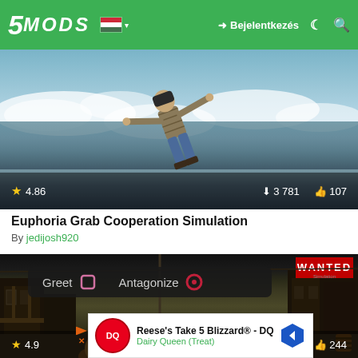5MODS — Bejelentkezés
[Figure (screenshot): GTA V screenshot showing a character jumping/falling through the air over water with clouds in the background. Rating: 4.86 stars, 3 781 downloads, 107 likes shown in overlay bar.]
Euphoria Grab Cooperation Simulation
By jedijosh920
[Figure (screenshot): Red Dead Redemption 2 screenshot showing a western town with a Greet/Antagonize UI bar visible, WANTED sign in top right. Rating 4.9, 244 likes shown. An advertisement for Reese's Take 5 Blizzard - DQ / Dairy Queen (Treat) overlays the bottom.]